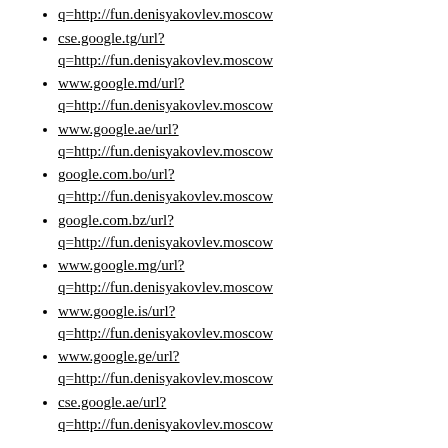q=http://fun.denisyakovlev.moscow
cse.google.tg/url?
q=http://fun.denisyakovlev.moscow
www.google.md/url?
q=http://fun.denisyakovlev.moscow
www.google.ae/url?
q=http://fun.denisyakovlev.moscow
google.com.bo/url?
q=http://fun.denisyakovlev.moscow
google.com.bz/url?
q=http://fun.denisyakovlev.moscow
www.google.mg/url?
q=http://fun.denisyakovlev.moscow
www.google.is/url?
q=http://fun.denisyakovlev.moscow
www.google.ge/url?
q=http://fun.denisyakovlev.moscow
cse.google.ae/url?
q=http://fun.denisyakovlev.moscow